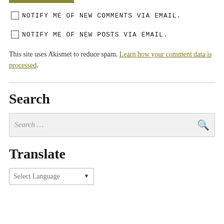[Figure (other): Olive/khaki colored horizontal bar at top of page]
NOTIFY ME OF NEW COMMENTS VIA EMAIL.
NOTIFY ME OF NEW POSTS VIA EMAIL.
This site uses Akismet to reduce spam. Learn how your comment data is processed.
Search
Search …
Translate
Select Language